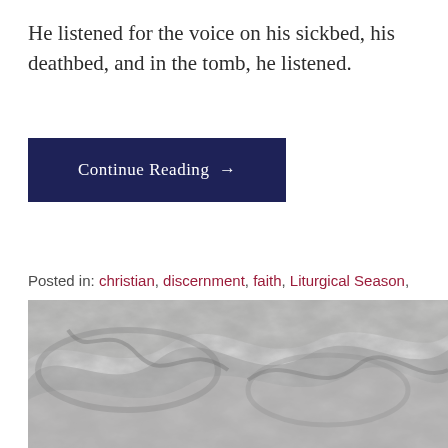He listened for the voice on his sickbed, his deathbed, and in the tomb, he listened.
Continue Reading →
Posted in: christian, discernment, faith, Liturgical Season, Orthodox Faith
Filed under: entering tradition, Holy Week, praying with coronavirus, recovery from covid 19
[Figure (photo): Grayscale photograph of a sculptural surface with flowing carved forms, possibly marble or stone relief with organic curved patterns.]